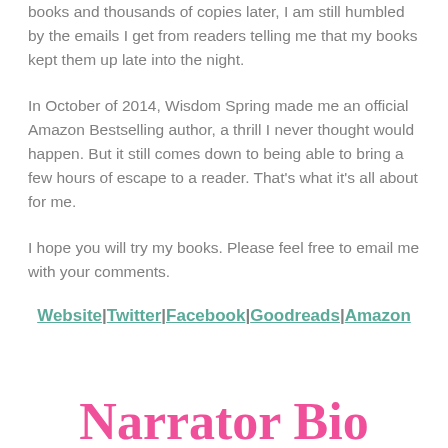books and thousands of copies later, I am still humbled by the emails I get from readers telling me that my books kept them up late into the night.
In October of 2014, Wisdom Spring made me an official Amazon Bestselling author, a thrill I never thought would happen. But it still comes down to being able to bring a few hours of escape to a reader. That's what it's all about for me.
I hope you will try my books. Please feel free to email me with your comments.
Website | Twitter | Facebook | Goodreads | Amazon
Narrator Bio